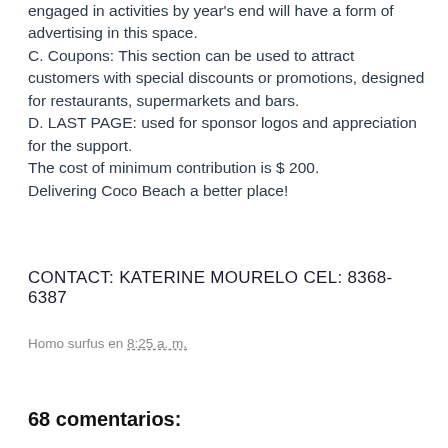engaged in activities by year's end will have a form of advertising in this space.
C. Coupons: This section can be used to attract customers with special discounts or promotions, designed for restaurants, supermarkets and bars.
D. LAST PAGE: used for sponsor logos and appreciation for the support.
The cost of minimum contribution is $ 200.
Delivering Coco Beach a better place!
CONTACT: KATERINE MOURELO CEL: 8368-6387
Homo surfus en 8:25 a. m.
Compartir
68 comentarios:
Tia Zelmira  2:00 p. m.
Un saludo para nuestro bien odiado Homosurfus, conocido como Cayin o Ricardo Barrera que contrajo matrimonio